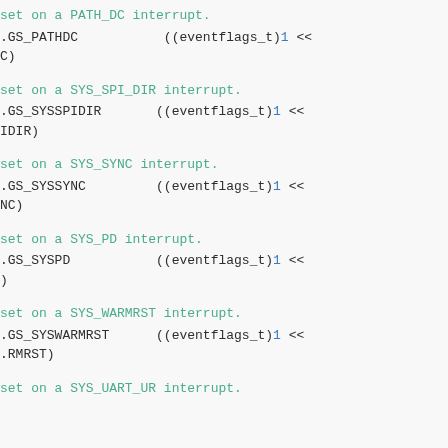set on a PATH_DC interrupt.
AGS_PATHDC		((eventflags_t)1 << C)
set on a SYS_SPI_DIR interrupt.
AGS_SYSSPIDIR		((eventflags_t)1 << IDIR)
set on a SYS_SYNC interrupt.
AGS_SYSSYNC		((eventflags_t)1 << NC)
set on a SYS_PD interrupt.
AGS_SYSPD		((eventflags_t)1 << )
set on a SYS_WARMRST interrupt.
AGS_SYSWARMRST		((eventflags_t)1 << RMRST)
set on a SYS_UART_UR interrupt.